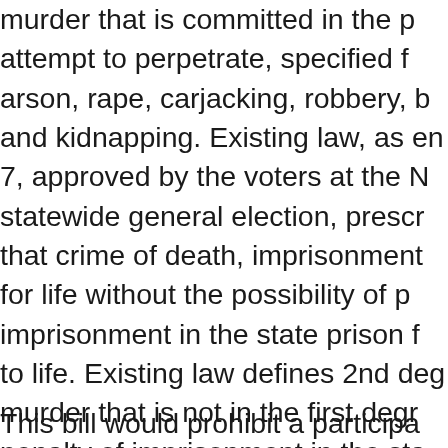murder that is committed in the perpetration or attempt to perpetrate, specified felonies, including arson, rape, carjacking, robbery, burglary, and kidnapping. Existing law, as enacted by Prop. 7, approved by the voters at the November 1978 statewide general election, prescribes as punishment that crime of death, imprisonment in the state prison for life without the possibility of parole, or imprisonment in the state prison for a term of 15 years to life. Existing law defines 2nd degree murder as murder that is not in the first degree and sets the penalty of imprisonment in the state prison for a term of 15 years to life.
This bill would prohibit a participant in the perpetration or attempted perpetration of the specified first degree murder felonies...